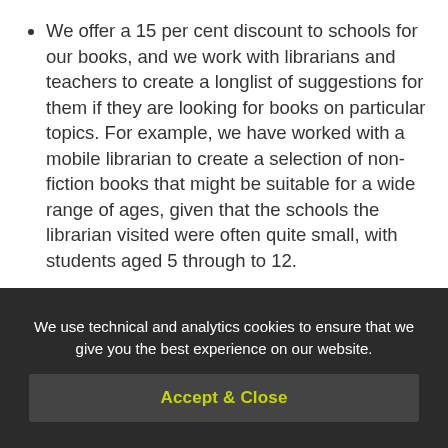We offer a 15 per cent discount to schools for our books, and we work with librarians and teachers to create a longlist of suggestions for them if they are looking for books on particular topics. For example, we have worked with a mobile librarian to create a selection of non-fiction books that might be suitable for a wide range of ages, given that the schools the librarian visited were often quite small, with students aged 5 through to 12.
We've put together lists of books for Catholic primary schools matched to their inquiry units each term.
We've developed lists of books related to grief,
We use technical and analytics cookies to ensure that we give you the best experience on our website.
Accept & Close